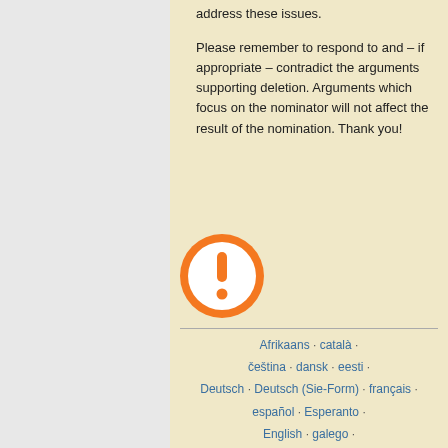address these issues.
Please remember to respond to and – if appropriate – contradict the arguments supporting deletion. Arguments which focus on the nominator will not affect the result of the nomination. Thank you!
[Figure (illustration): Orange circle warning icon with white exclamation mark]
Afrikaans · català · čeština · dansk · eesti · Deutsch · Deutsch (Sie-Form) · français · español · Esperanto · English · galego · hrvatski · Bahasa Indonesia · islenska ·